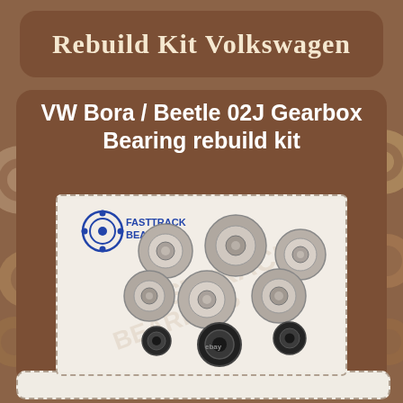Rebuild Kit Volkswagen
VW Bora / Beetle 02J Gearbox Bearing rebuild kit
[Figure (photo): Photo of VW Bora/Beetle 02J gearbox bearing rebuild kit components including multiple tapered roller bearings and oil seals, shown on white background with FastTrack Bearings logo and eBay watermark]